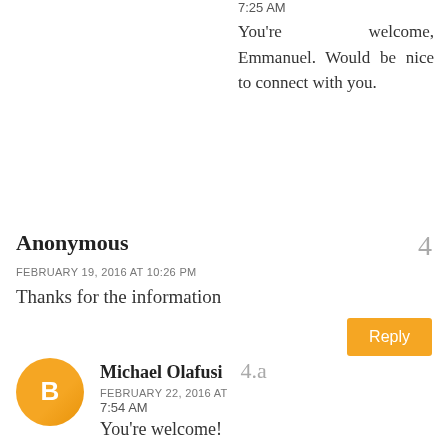7:25 AM
You're welcome, Emmanuel. Would be nice to connect with you.
Anonymous
FEBRUARY 19, 2016 AT 10:26 PM
Thanks for the information
Reply
[Figure (illustration): Orange circular avatar with Blogger 'B' logo icon]
Michael Olafusi
FEBRUARY 22, 2016 AT
7:54 AM
You're welcome!